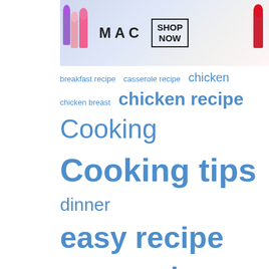[Figure (photo): MAC Cosmetics advertisement banner with lipsticks and SHOP NOW button]
breakfast recipe  casserole recipe  chicken  chicken breast  chicken recipe  Cooking  Cooking tips  dinner  easy recipe  easy recipes  fall recipe  free recipe  free recipes  game day recipe  grilling  holiday recipe  italian food  italian recipe  mexican food  mexican recipe  Nutrition  nutrition facts  one dish meal  one dish recipe  outdoor cooking  party recipe  pasta recipe  pork recipe  pot luck recipe  Products  quick recipe  recipe